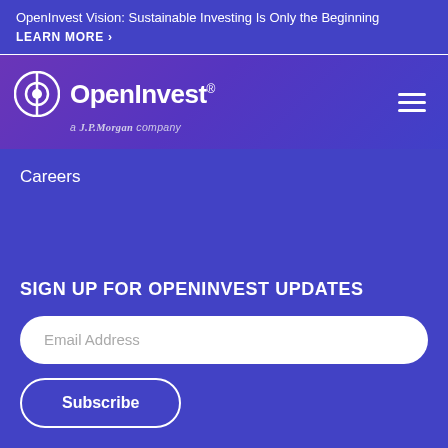OpenInvest Vision: Sustainable Investing Is Only the Beginning LEARN MORE ›
[Figure (logo): OpenInvest logo with circular icon and text 'OpenInvest®' and 'a J.P.Morgan company' subtitle, with hamburger menu icon on the right, on a purple gradient background]
Careers
SIGN UP FOR OPENINVEST UPDATES
Email Address
Subscribe